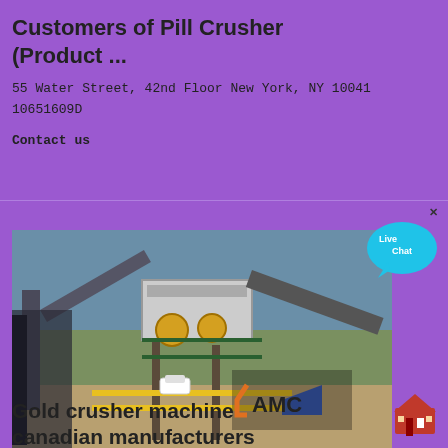Customers of Pill Crusher (Product ...
55 Water Street, 42nd Floor New York, NY 10041
10651609D
Contact us
[Figure (photo): Industrial crusher machine facility with conveyor belts, yellow railings, and AMC logo branding. Heavy mining/crushing equipment in an outdoor setting.]
Gold crusher machine canadian manufacturers